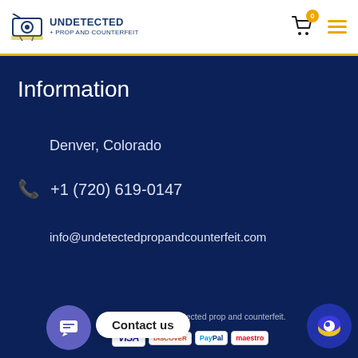UNDETECTED PROP AND COUNTERFEIT
Information
Denver, Colorado
+1 (720) 619-0147
info@undetectedpropandcounterfeit.com
© Copyright undetected prop and counterfeit.
[Figure (logo): Payment logos: VISA, DISCOVER, PayPal, Maestro]
Contact us